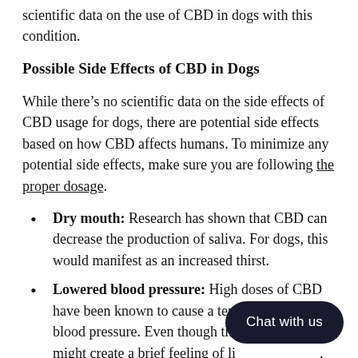scientific data on the use of CBD in dogs with this condition.
Possible Side Effects of CBD in Dogs
While there’s no scientific data on the side effects of CBD usage for dogs, there are potential side effects based on how CBD affects humans. To minimize any potential side effects, make sure you are following the proper dosage.
Dry mouth: Research has shown that CBD can decrease the production of saliva. For dogs, this would manifest as an increased thirst.
Lowered blood pressure: High doses of CBD have been known to cause a temporary drop in blood pressure. Even though the drop is small, it might create a brief feeling of lightheadedness.
Drowsiness: Dog owners have used CBD to treat anxiety. The calming effect of CBD can also cause slight drowsiness, especially when using